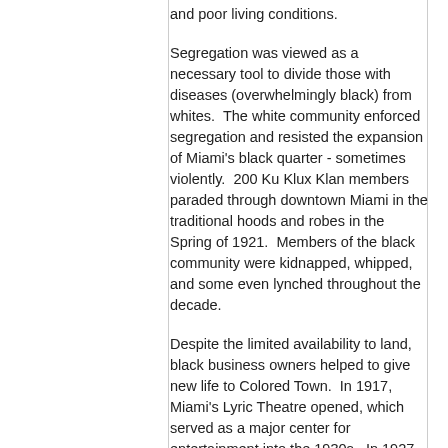and poor living conditions.
Segregation was viewed as a necessary tool to divide those with diseases (overwhelmingly black) from whites.  The white community enforced segregation and resisted the expansion of Miami's black quarter - sometimes violently.  200 Ku Klux Klan members paraded through downtown Miami in the traditional hoods and robes in the Spring of 1921.  Members of the black community were kidnapped, whipped, and some even lynched throughout the decade.
Despite the limited availability to land, black business owners helped to give new life to Colored Town.  In 1917, Miami's Lyric Theatre opened, which served as a major center for entertainment into the 1930s.  In 1927, Booker T. Washington Senior High School opened, the first high school for black children in Miami.  However, black entrepreneurs were barred from opening any businesses in white districts, even though white entrepreneurs could open a business in Colored Town.  For most of Miami's black population, segregation, poor living conditions, and violence wore away any hard-